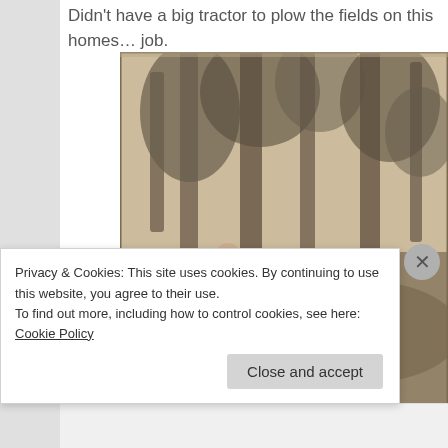Didn't have a big tractor to plow the fields on this homes… job.
[Figure (photo): Black and white vintage photograph of two men in a forest, working near a large tree stump. One man is bent over working while another crouches nearby. Dense forest with tall trees in background.]
Privacy & Cookies: This site uses cookies. By continuing to use this website, you agree to their use.
To find out more, including how to control cookies, see here: Cookie Policy
Close and accept